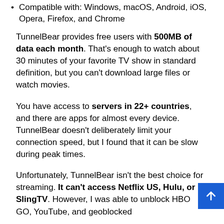Compatible with: Windows, macOS, Android, iOS, Opera, Firefox, and Chrome
TunnelBear provides free users with 500MB of data each month. That's enough to watch about 30 minutes of your favorite TV show in standard definition, but you can't download large files or watch movies.
You have access to servers in 22+ countries, and there are apps for almost every device. TunnelBear doesn't deliberately limit your connection speed, but I found that it can be slow during peak times.
Unfortunately, TunnelBear isn't the best choice for streaming. It can't access Netflix US, Hulu, or SlingTV. However, I was able to unblock HBO GO, YouTube, and geoblocked